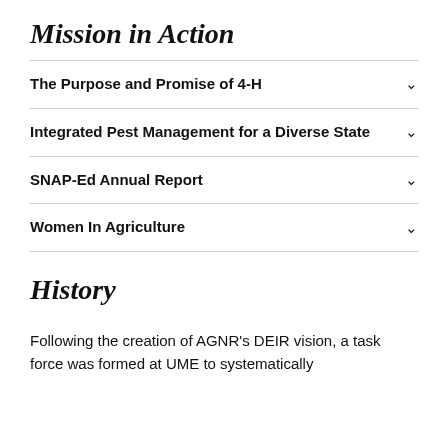Mission in Action
The Purpose and Promise of 4-H
Integrated Pest Management for a Diverse State
SNAP-Ed Annual Report
Women In Agriculture
History
Following the creation of AGNR's DEIR vision, a task force was formed at UME to systematically